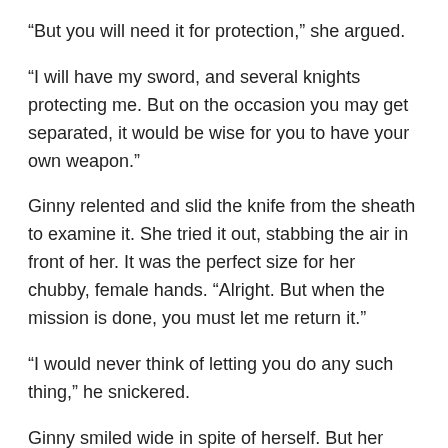“But you will need it for protection,” she argued.
“I will have my sword, and several knights protecting me. But on the occasion you may get separated, it would be wise for you to have your own weapon.”
Ginny relented and slid the knife from the sheath to examine it. She tried it out, stabbing the air in front of her. It was the perfect size for her chubby, female hands. “Alright. But when the mission is done, you must let me return it.”
“I would never think of letting you do any such thing,” he snickered.
Ginny smiled wide in spite of herself. But her head was bowed, so he couldn’t tell, she didn’t think.